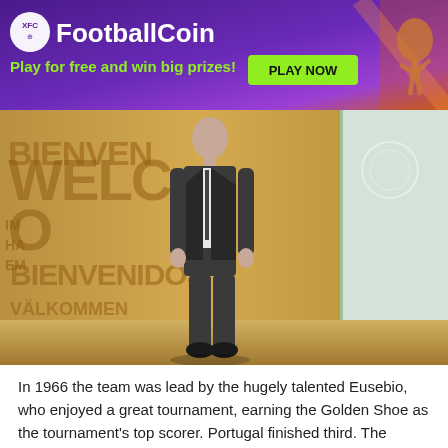[Figure (infographic): FootballCoin banner advertisement with purple/gradient background, XFC logo, 'Play for free and win big prizes!' tagline in green, a green 'PLAY NOW' button, and an illustration of a soccer player on the right.]
[Figure (photo): A man in a dark suit standing in front of a wooden welcome wall with multilingual welcome messages (BIENVENIDOS, WELCOME etc.) and a glass-walled office area on the right.]
In 1966 the team was lead by the hugely talented Eusebio, who enjoyed a great tournament, earning the Golden Shoe as the tournament's top scorer. Portugal finished third. The second great generation (dubbed by some The Golden Generation) emerged in the late 1990's and was lead by the likes of Luis Figo and Nuno Gomes. Their best performance